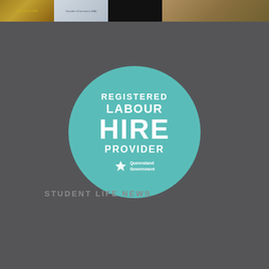[Figure (other): Strip of thumbnail images across the top: an Australian badge/logo, a Chamber of Commerce logo, a dark image, and a crowd/event photo]
[Figure (logo): Registered Labour Hire Provider badge - circular teal badge with white text and Queensland Government logo]
STUDENT LIFE NEWS